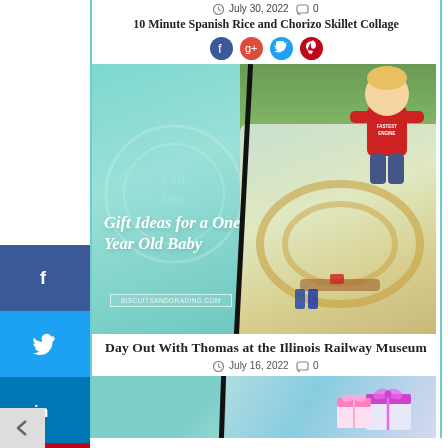July 30, 2022  0
10 Minute Spanish Rice and Chorizo Skillet Collage
[Figure (photo): Collage image: left half shows teal/mint background with text 'Gift Ideas for a One Year Old Baby' and URL biscuitsandgrading.com; right half shows a young boy in a red shirt playing with a wooden train set on a colorful track mat outdoors. A diagonal black divider separates the two halves.]
Day Out With Thomas at the Illinois Railway Museum
July 16, 2022  0
[Figure (photo): Bottom partial image showing a teal/mint background on the left and gift boxes with pink ribbon on the right, with a diagonal black divider.]